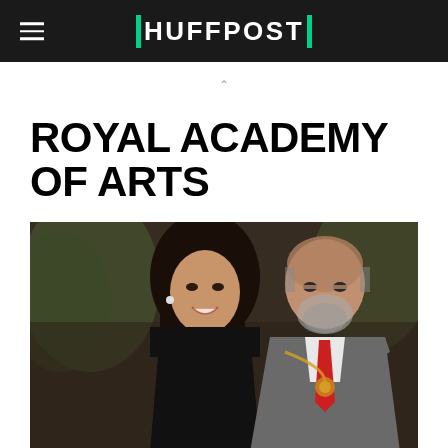HUFFPOST
ROYAL ACADEMY OF ARTS
[Figure (photo): A woman with long dark hair wearing a black outfit smiling, standing next to an older balding man with a grey beard wearing a grey suit with a red tie and decorative gold chain/medallion, at what appears to be an indoor event with greenery in the background.]